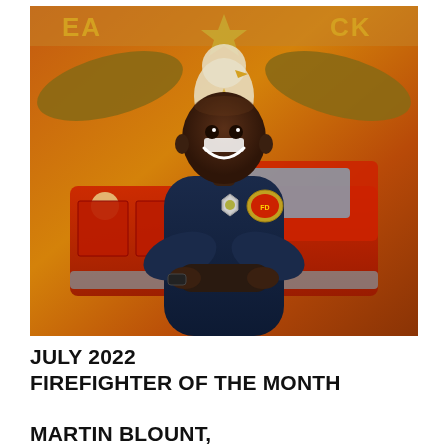[Figure (photo): A smiling Black male firefighter in a navy blue uniform with badge and department patch on the sleeve, arms crossed, standing in front of a colorful painted mural of a fire truck and an eagle with a star. Letters 'EA' and 'CK' are visible at the top of the mural.]
JULY 2022
FIREFIGHTER OF THE MONTH
MARTIN BLOUNT,